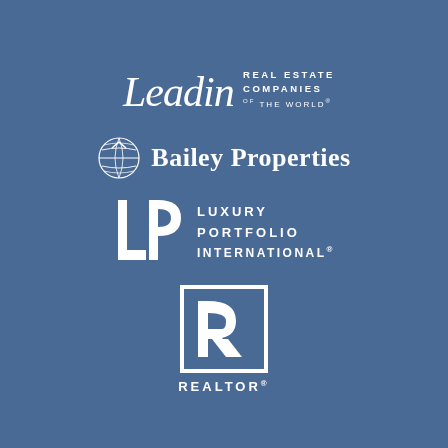[Figure (logo): Leading Real Estate Companies of the World logo - script 'Leading' text with 'REAL ESTATE COMPANIES OF THE WORLD' in small caps]
[Figure (logo): Bailey Properties logo with globe/sphere icon and 'Bailey Properties' text]
[Figure (logo): Luxury Portfolio International logo with 'LP' monogram and 'LUXURY PORTFOLIO INTERNATIONAL' text]
[Figure (logo): REALTOR logo with R symbol in rectangle and 'REALTOR' text below]